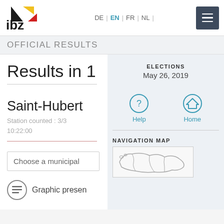[Figure (logo): IBZ logo with black/yellow/red triangle shapes and 'ibz' text]
DE | EN | FR | NL |
OFFICIAL RESULTS
Results in 1
ELECTIONS
May 26, 2019
Saint-Hubert
Station counted : 3/3
10:22:00
Help
Home
Choose a municipal
NAVIGATION MAP
Graphic presen
[Figure (map): Small navigation map thumbnail showing Belgium regions]